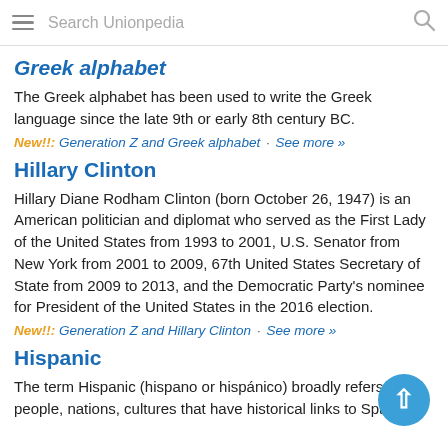Search Unionpedia
Greek alphabet
The Greek alphabet has been used to write the Greek language since the late 9th or early 8th century BC.
New!!: Generation Z and Greek alphabet · See more »
Hillary Clinton
Hillary Diane Rodham Clinton (born October 26, 1947) is an American politician and diplomat who served as the First Lady of the United States from 1993 to 2001, U.S. Senator from New York from 2001 to 2009, 67th United States Secretary of State from 2009 to 2013, and the Democratic Party's nominee for President of the United States in the 2016 election.
New!!: Generation Z and Hillary Clinton · See more »
Hispanic
The term Hispanic (hispano or hispánico) broadly refers to the people, nations, cultures that have historical links to Spain...